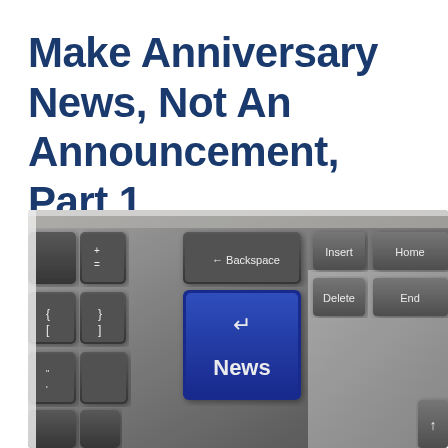Make Anniversary News, Not An Announcement, Part 1
[Figure (photo): Close-up photograph of a computer keyboard with a prominent blue Enter/Return key labeled 'News' in white text, surrounded by dark grey keys including Backspace, Delete, Insert, Home, End, and bracket keys. The keyboard has a silver/beige frame.]